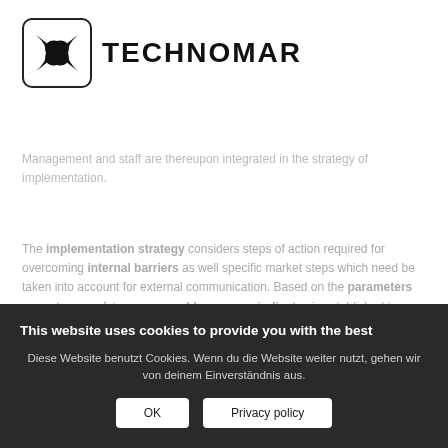[Figure (logo): Technomar logo: rounded rectangle border containing an X-shaped bowtie/lens icon in black, next to bold text 'TECHNOMAR']
Management and staff are thereupon integrated in the strategy of implementation.
The implementation strategy considers steps of action required for overcoming internal barriers as well specific market steps which need be taken into account for external communication. Based on the parameters agreed upon a future measurable success indicator is established to ensure target achievement.
This website uses cookies to provide you with the best
Diese Website benutzt Cookies. Wenn du die Website weiter nutzt, gehen wir von deinem Einverständnis aus.
OK
Privacy policy